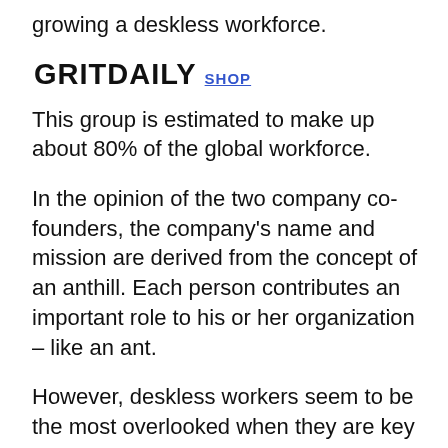growing a deskless workforce.
[Figure (logo): GRITDAILY SHOP logo — GRITDAILY in bold black uppercase, SHOP in blue uppercase underlined]
This group is estimated to make up about 80% of the global workforce.
In the opinion of the two company co-founders, the company’s name and mission are derived from the concept of an anthill. Each person contributes an important role to his or her organization – like an ant.
However, deskless workers seem to be the most overlooked when they are key players in the global ecosystem. Anthill wants to create an opportunity for companies to connect, grow and meet the needs of these